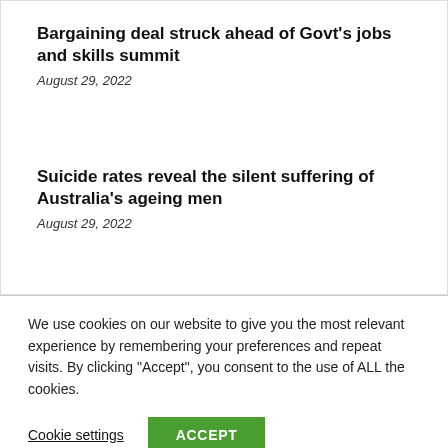Bargaining deal struck ahead of Govt’s jobs and skills summit
August 29, 2022
Suicide rates reveal the silent suffering of Australia’s ageing men
August 29, 2022
We use cookies on our website to give you the most relevant experience by remembering your preferences and repeat visits. By clicking “Accept”, you consent to the use of ALL the cookies.
Cookie settings
ACCEPT